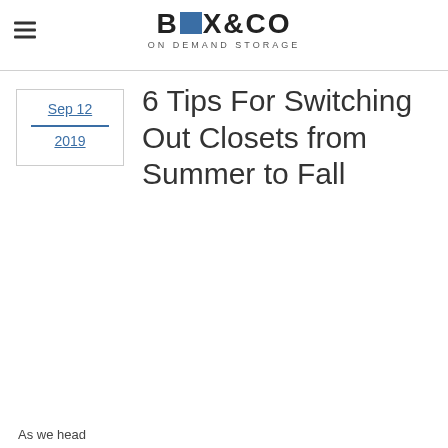BOX&CO ON DEMAND STORAGE
Sep 12
2019
6 Tips For Switching Out Closets from Summer to Fall
As we head ...